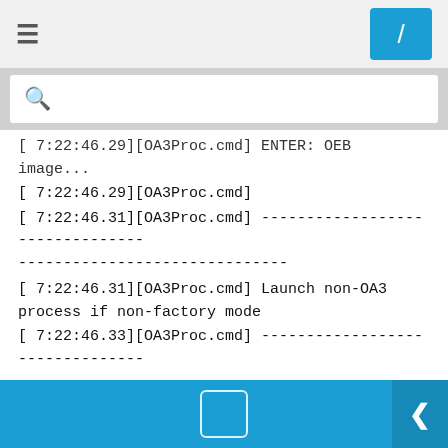≡  /
[7:22:46.29][OA3Proc.cmd] ENTER: OEB image...
[7:22:46.29][OA3Proc.cmd]
[7:22:46.31][OA3Proc.cmd] ----------------------------------------------------------------
[7:22:46.31][OA3Proc.cmd] Launch non-OA3 process if non-factory mode
[7:22:46.33][OA3Proc.cmd] ----------------------------------------------------------------
[7:22:46.33][OA3Proc.cmd]
[7:22:46.37][OA3Proc.cmd] Cannot find